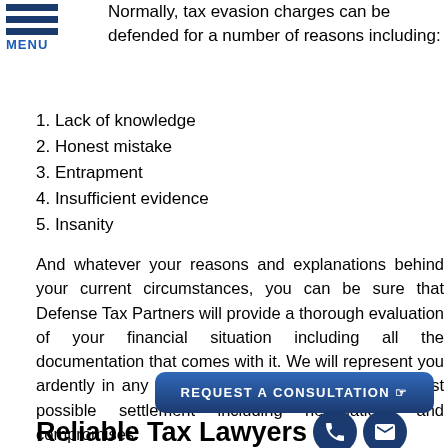MENU
Normally, tax evasion charges can be defended for a number of reasons including:
1. Lack of knowledge
2. Honest mistake
3. Entrapment
4. Insufficient evidence
5. Insanity
And whatever your reasons and explanations behind your current circumstances, you can be sure that Defense Tax Partners will provide a thorough evaluation of your financial situation including all the documentation that comes with it. We will represent you ardently in any tax case in order to arrive at the best possible settlement including negotiations and compromises.
REQUEST A CONSULTATION
Reliable Tax Lawyers